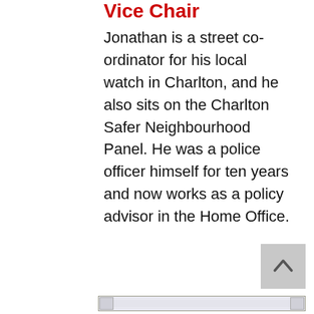Vice Chair
Jonathan is a street co-ordinator for his local watch in Charlton, and he also sits on the Charlton Safer Neighbourhood Panel. He was a police officer himself for ten years and now works as a policy advisor in the Home Office.